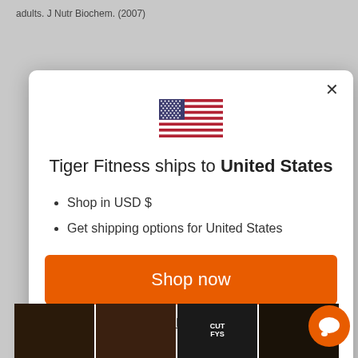adults. J Nutr Biochem. (2007)
[Figure (screenshot): Modal dialog from Tiger Fitness website showing shipping information for United States with US flag, bullet points, Shop now button, and Change shipping country link]
Tiger Fitness ships to United States
Shop in USD $
Get shipping options for United States
Shop now
Change shipping country